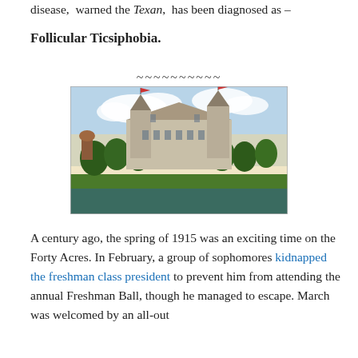disease, warned the Texan, has been diagnosed as –
Follicular Ticsiphobia.
~~~~~~~~~~
[Figure (photo): Vintage colorized postcard illustration of a large Victorian-era university building (likely the University of Texas at Austin main building), with towers flying flags, surrounded by trees and a lawn with bluebonnets in the foreground, and a water tower visible to the left.]
A century ago, the spring of 1915 was an exciting time on the Forty Acres. In February, a group of sophomores kidnapped the freshman class president to prevent him from attending the annual Freshman Ball, though he managed to escape. March was welcomed by an all-out